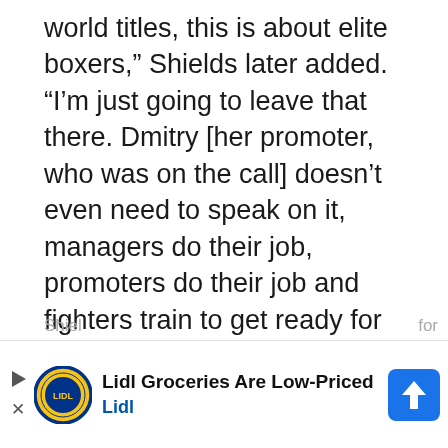world titles, this is about elite boxers,” Shields later added. “I’m just going to leave that there. Dmitry [her promoter, who was on the call] doesn’t even need to speak on it, managers do their job, promoters do their job and fighters train to get ready for our fights.”
[Figure (other): Advertisement banner for Lidl Groceries with Lidl logo, play button, close button, text 'Lidl Groceries Are Low-Priced' and 'Lidl', and a blue navigation arrow icon]